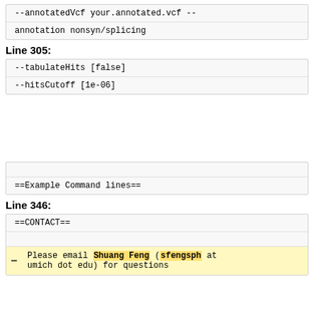--annotatedVcf your.annotated.vcf --annotation nonsyn/splicing
Line 305:
--tabulateHits [false]
--hitsCutoff [1e-06]
Line 301:
--tabulaHits (truncated)
--hitsCu (truncated)
+ --dosage (added)
+ --altMAF (added)
==Example Command lines==
Line 346:
Line 344:
==CONTACT==
Please email Shuang Feng (sfengsph at umich dot edu) for questions